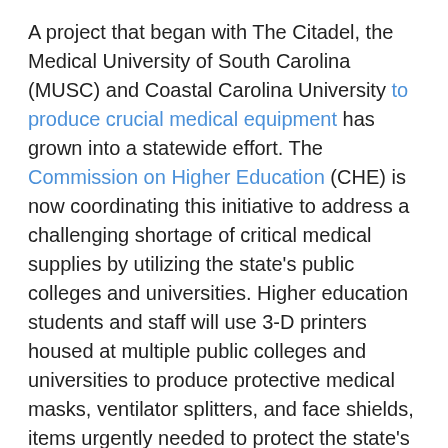A project that began with The Citadel, the Medical University of South Carolina (MUSC) and Coastal Carolina University to produce crucial medical equipment has grown into a statewide effort. The Commission on Higher Education (CHE) is now coordinating this initiative to address a challenging shortage of critical medical supplies by utilizing the state's public colleges and universities. Higher education students and staff will use 3-D printers housed at multiple public colleges and universities to produce protective medical masks, ventilator splitters, and face shields, items urgently needed to protect the state's health professionals as they care for patients and fight the COVID-19 pandemic. Since students' learning has moved online and most have returned to their home communities, equipment and machinery that routinely operates during the semester is available for